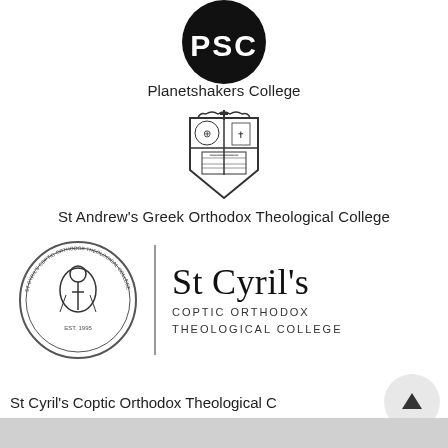[Figure (logo): PSC (Planetshakers College) circular black logo with stylized 'PSC' lettering in white]
Planetshakers College
[Figure (logo): St Andrew's Greek Orthodox Theological College heraldic shield crest with cross on top and religious imagery]
St Andrew's Greek Orthodox Theological College
[Figure (logo): St Cyril's Coptic Orthodox Theological College circular seal with figure of St Cyril, vertical divider, and 'St Cyril's COPTIC ORTHODOX THEOLOGICAL COLLEGE' text]
St Cyril's Coptic Orthodox Theological C